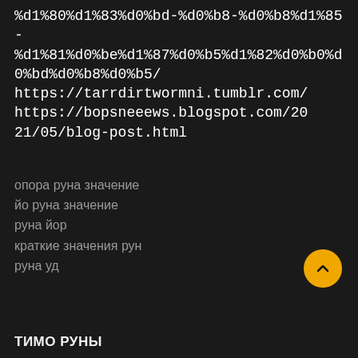%d1%80%d1%83%d0%bd-%d0%b8-%d0%b8%d1%85-%d1%81%d0%be%d1%87%d0%b5%d1%82%d0%b0%d0%bd%d0%b8%d0%b5/
https://tarrdirtwormni.tumblr.com/
https://bopsneeews.blogspot.com/2021/05/blog-post.html
опора руна значение
йо руна значение
руна йор
краткие значения рун
руна уд
ТИМО РУНЫ